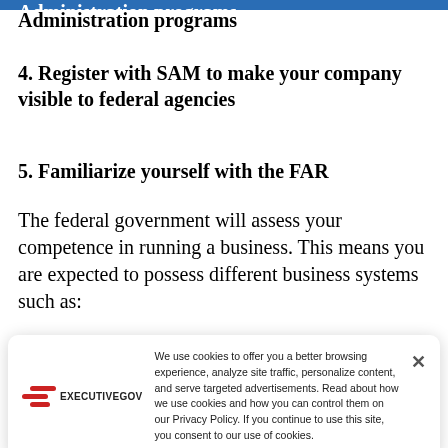Administration programs
4. Register with SAM to make your company visible to federal agencies
5. Familiarize yourself with the FAR
The federal government will assess your competence in running a business. This means you are expected to possess different business systems such as:
[Figure (screenshot): Cookie consent banner from ExecutiveGov website with logo (red wavy stripes and EXECUTIVEGOV text) and cookie policy text with close button X]
Material management